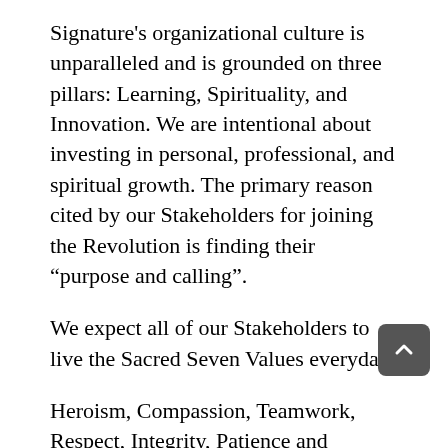Signature's organizational culture is unparalleled and is grounded on three pillars: Learning, Spirituality, and Innovation. We are intentional about investing in personal, professional, and spiritual growth. The primary reason cited by our Stakeholders for joining the Revolution is finding their “purpose and calling”.
We expect all of our Stakeholders to live the Sacred Seven Values everyday:
Heroism, Compassion, Teamwork, Respect, Integrity, Patience and Positivity
As a Registered Nurse (RN) or Licensed Practical Nurse (LPN) on our team, you will make a difference by providing direct and